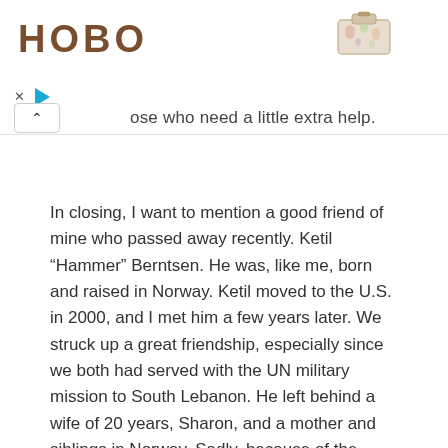[Figure (other): Advertisement banner with HOBO brand logo in brown uppercase letters on the left, a small floral handbag image on the right, ad controls (x close button and play button arrow in teal), and a collapse chevron button below.]
ose who need a little extra help.
In closing, I want to mention a good friend of mine who passed away recently. Ketil “Hammer” Berntsen. He was, like me, born and raised in Norway. Ketil moved to the U.S. in 2000, and I met him a few years later. We struck up a great friendship, especially since we both had served with the UN military mission to South Lebanon. He left behind a wife of 20 years, Sharon, and a mother and siblings in Norway. Sadly, because of the COVID-19 crisis, we could not have a proper send-off for him, but he lives on in our memories.
Until next time, be safe, have a little fun, and keep up the social distancing.